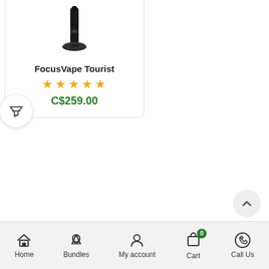[Figure (photo): Product image of FocusVape Tourist vaporizer device, tall black cylindrical shape with a round base]
FocusVape Tourist
[Figure (other): 5 gold/yellow star rating icons]
C$259.00
[Figure (other): Filter funnel icon button (circular white button on left side)]
[Figure (other): Scroll to top chevron arrow button (circular button bottom right)]
Home  Bundles  My account  Cart  Call Us